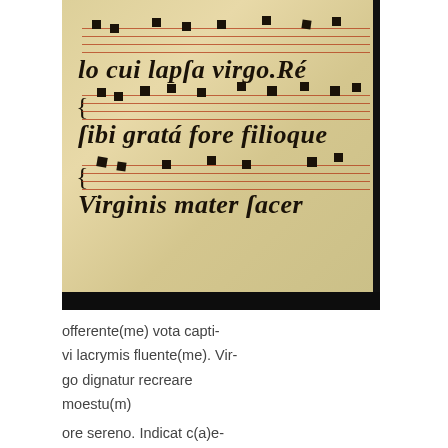[Figure (photo): Photograph of a medieval manuscript page showing plainchant notation on red staff lines over parchment. The text reads in gothic/blackletter script: 'lo cui lapsa virgo. Re', 'sibi gratam fore filioque', 'Virginis mater sacer']
offerente(me) vota capti-
vi lacrymis fluente(me). Vir-
go dignatur recreare
moestu(m)
ore sereno. Indicat c(a)e-
lo cui lapsa virgo Re(m)
sibi grat(m) fore filioque
virginis matris sacer